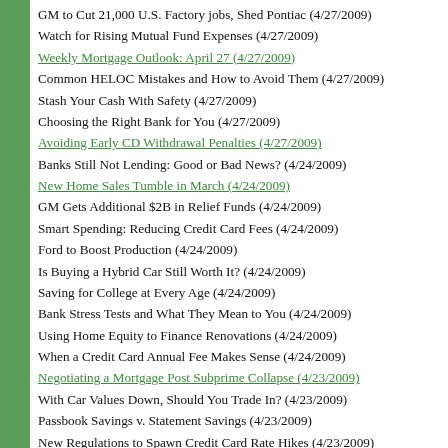GM to Cut 21,000 U.S. Factory jobs, Shed Pontiac (4/27/2009)
Watch for Rising Mutual Fund Expenses (4/27/2009)
Weekly Mortgage Outlook: April 27 (4/27/2009)
Common HELOC Mistakes and How to Avoid Them (4/27/2009)
Stash Your Cash With Safety (4/27/2009)
Choosing the Right Bank for You (4/27/2009)
Avoiding Early CD Withdrawal Penalties (4/27/2009)
Banks Still Not Lending: Good or Bad News? (4/24/2009)
New Home Sales Tumble in March (4/24/2009)
GM Gets Additional $2B in Relief Funds (4/24/2009)
Smart Spending: Reducing Credit Card Fees (4/24/2009)
Ford to Boost Production (4/24/2009)
Is Buying a Hybrid Car Still Worth It? (4/24/2009)
Saving for College at Every Age (4/24/2009)
Bank Stress Tests and What They Mean to You (4/24/2009)
Using Home Equity to Finance Renovations (4/24/2009)
When a Credit Card Annual Fee Makes Sense (4/24/2009)
Negotiating a Mortgage Post Subprime Collapse (4/23/2009)
With Car Values Down, Should You Trade In? (4/23/2009)
Passbook Savings v. Statement Savings (4/23/2009)
New Regulations to Spawn Credit Card Rate Hikes (4/23/2009)
Refinancing? Consider the Terms (4/23/2009)